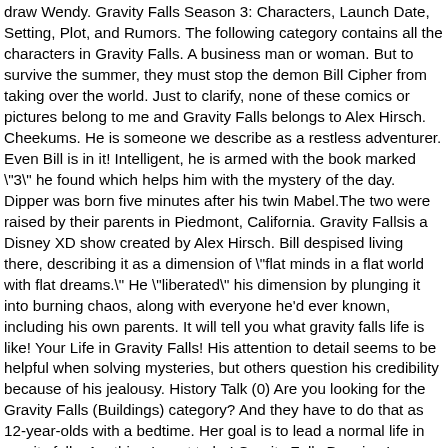draw Wendy. Gravity Falls Season 3: Characters, Launch Date, Setting, Plot, and Rumors. The following category contains all the characters in Gravity Falls. A business man or woman. But to survive the summer, they must stop the demon Bill Cipher from taking over the world. Just to clarify, none of these comics or pictures belong to me and Gravity Falls belongs to Alex Hirsch. Cheekums. He is someone we describe as a restless adventurer. Even Bill is in it! Intelligent, he is armed with the book marked "3" he found which helps him with the mystery of the day. Dipper was born five minutes after his twin Mabel.The two were raised by their parents in Piedmont, California. Gravity Fallsis a Disney XD show created by Alex Hirsch. Bill despised living there, describing it as a dimension of "flat minds in a flat world with flat dreams." He "liberated" his dimension by plunging it into burning chaos, along with everyone he'd ever known, including his own parents. It will tell you what gravity falls life is like! Your Life in Gravity Falls! His attention to detail seems to be helpful when solving mysteries, but others question his credibility because of his jealousy. History Talk (0) Are you looking for the Gravity Falls (Buildings) category? And they have to do that as 12-year-olds with a bedtime. Her goal is to lead a normal life in gravity falls. Anything I want to be! Gravity Falls Drawing Lessons and step by step drawing tutorials for drawing them. What is your dream job? You can activate the Gravity Falls shimejis in the Shimeji Browser Extension for Google Chrome. Gravity Falls. At her age of fifteen, Wendy is generally attractive and being